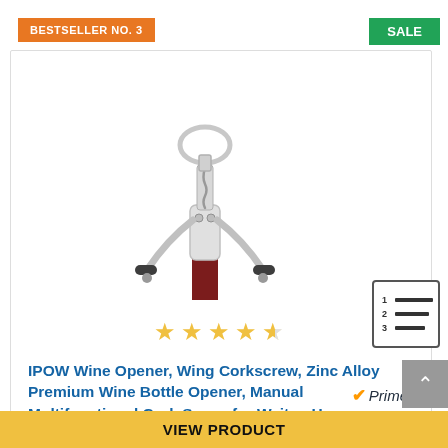BESTSELLER NO. 3
SALE
[Figure (photo): Silver wing corkscrew wine opener with black rubber handles, chrome body, spiral screw, and ring handle at top, inserted into a dark red wine bottle neck]
[Figure (other): Numbered list icon showing rows 1, 2, 3 with horizontal bars]
★★★★☆ (4.5 stars)
IPOW Wine Opener, Wing Corkscrew, Zinc Alloy Premium Wine Bottle Opener, Manual Multifunctional Cork Screw for Waiter, Heavy Duty, Silver
Prime
VIEW PRODUCT